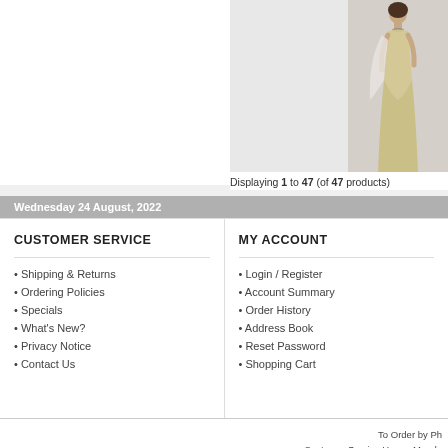[Figure (photo): Product image area showing a woman in a formal gown/dress on the right side, with a grey placeholder area to the left]
Displaying 1 to 47 (of 47 products)
Wednesday 24 August, 2022
CUSTOMER SERVICE
MY ACCOUNT
• Shipping & Returns
• Ordering Policies
• Specials
• What's New?
• Privacy Notice
• Contact Us
• Login / Register
• Account Summary
• Order History
• Address Book
• Reset Password
• Shopping Cart
To Order by Ph
Customer Service Hours: Monda
Copyright © 2022 Do